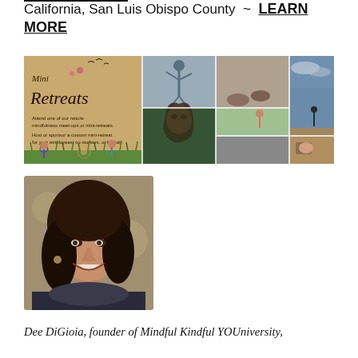California, San Luis Obispo County ~ LEARN MORE
[Figure (illustration): Mini Retreats promotional banner with collage of nature and mindfulness photos. Text reads: Mini Retreats. Attend one of our nature mindfulness meet-ups or mini-retreats. Host or sponsor a custom mini-retreat for your employees, co-workers, or friends.]
[Figure (photo): Portrait photo of a smiling woman with long dark brown hair, wearing dark clothing, with a soft blurred outdoor background.]
Dee DiGioia, founder of Mindful Kindful YOUniversity,